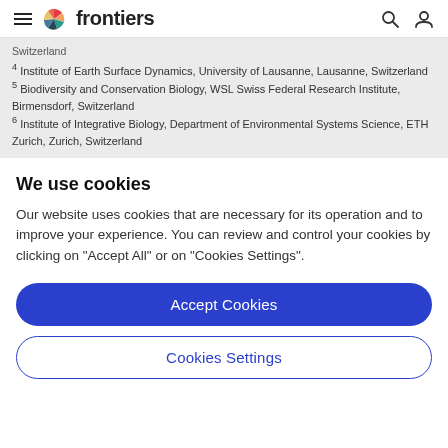frontiers
Switzerland
4 Institute of Earth Surface Dynamics, University of Lausanne, Lausanne, Switzerland
5 Biodiversity and Conservation Biology, WSL Swiss Federal Research Institute, Birmensdorf, Switzerland
6 Institute of Integrative Biology, Department of Environmental Systems Science, ETH Zurich, Zurich, Switzerland
We use cookies
Our website uses cookies that are necessary for its operation and to improve your experience. You can review and control your cookies by clicking on "Accept All" or on "Cookies Settings".
Accept Cookies
Cookies Settings